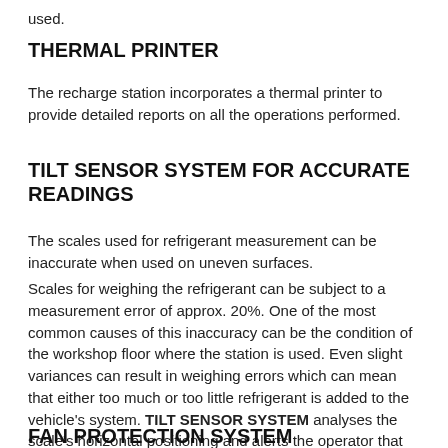used.
THERMAL PRINTER
The recharge station incorporates a thermal printer to provide detailed reports on all the operations performed.
TILT SENSOR SYSTEM FOR ACCURATE READINGS
The scales used for refrigerant measurement can be inaccurate when used on uneven surfaces.
Scales for weighing the refrigerant can be subject to a measurement error of approx. 20%. One of the most common causes of this inaccuracy can be the condition of the workshop floor where the station is used. Even slight variances can result in weighing errors which can mean that either too much or too little refrigerant is added to the vehicle's system. TILT SENSOR SYSTEM analyses the scale's horizontal positioning and alerts the operator that the readings may be inaccurate.
FAN PROTECTION SYSTEM